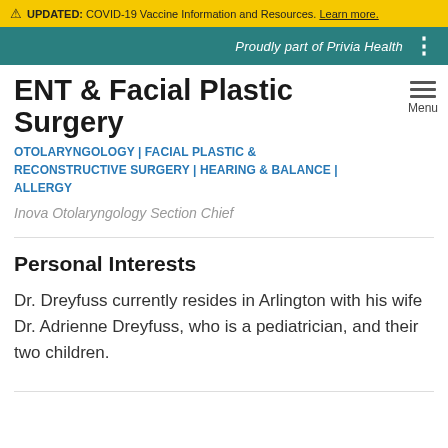⚠ UPDATED: COVID-19 Vaccine Information and Resources. Learn more.
Proudly part of Privia Health
ENT & Facial Plastic Surgery
OTOLARYNGOLOGY | FACIAL PLASTIC & RECONSTRUCTIVE SURGERY | HEARING & BALANCE | ALLERGY
Inova Otolaryngology Section Chief
Personal Interests
Dr. Dreyfuss currently resides in Arlington with his wife Dr. Adrienne Dreyfuss, who is a pediatrician, and their two children.